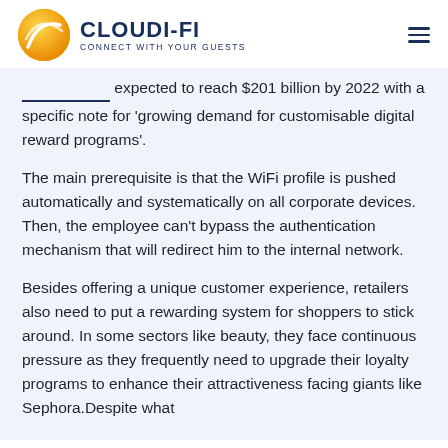CLOUDI-FI — CONNECT WITH YOUR GUESTS
expected to reach $201 billion by 2022 with a specific note for 'growing demand for customisable digital reward programs'.
The main prerequisite is that the WiFi profile is pushed automatically and systematically on all corporate devices. Then, the employee can't bypass the authentication mechanism that will redirect him to the internal network.
Besides offering a unique customer experience, retailers also need to put a rewarding system for shoppers to stick around. In some sectors like beauty, they face continuous pressure as they frequently need to upgrade their loyalty programs to enhance their attractiveness facing giants like Sephora.Despite what